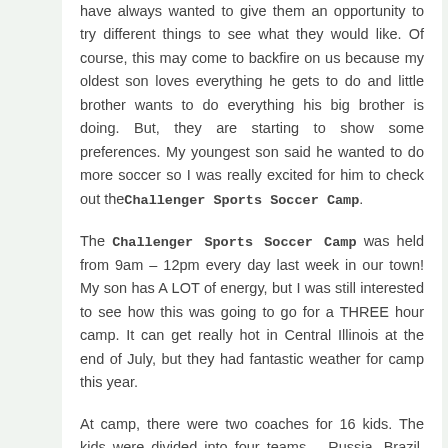have always wanted to give them an opportunity to try different things to see what they would like. Of course, this may come to backfire on us because my oldest son loves everything he gets to do and little brother wants to do everything his big brother is doing. But, they are starting to show some preferences. My youngest son said he wanted to do more soccer so I was really excited for him to check out theChallenger Sports Soccer Camp.

The Challenger Sports Soccer Camp was held from 9am – 12pm every day last week in our town! My son has A LOT of energy, but I was still interested to see how this was going to go for a THREE hour camp. It can get really hot in Central Illinois at the end of July, but they had fantastic weather for camp this year.

At camp, there were two coaches for 16 kids. The kids were divided into four teams – Russia, Brazil, France and England. Giving each team a name really encouraged them to bond